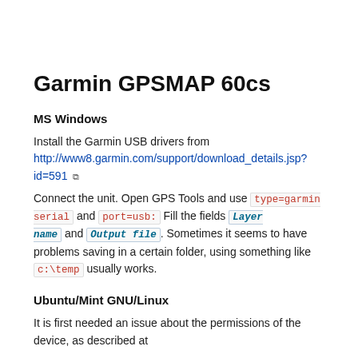Garmin GPSMAP 60cs
MS Windows
Install the Garmin USB drivers from http://www8.garmin.com/support/download_details.jsp?id=591 [external link]
Connect the unit. Open GPS Tools and use type=garmin serial and port=usb: Fill the fields Layer name and Output file. Sometimes it seems to have problems saving in a certain folder, using something like c:\temp usually works.
Ubuntu/Mint GNU/Linux
It is first needed an issue about the permissions of the device, as described at